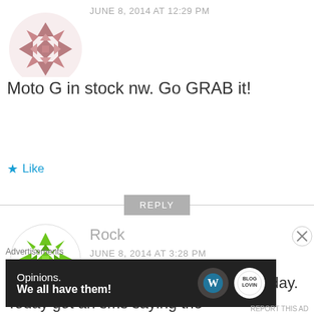[Figure (illustration): Avatar icon - mauve/pink geometric pattern in a circle, partially cropped at top]
JUNE 8, 2014 AT 12:29 PM
Moto G in stock nw. Go GRAB it!
Like
REPLY
[Figure (illustration): Avatar icon - bright green geometric snowflake/kaleidoscope pattern in a circle]
Rock
JUNE 8, 2014 AT 3:28 PM
Had placed an order at 3:45 pm yesterday. Today got an sms saying the
Advertisements
[Figure (screenshot): WordPress advertisement banner: dark background with text 'Opinions. We all have them!' and WordPress logo and another logo on the right]